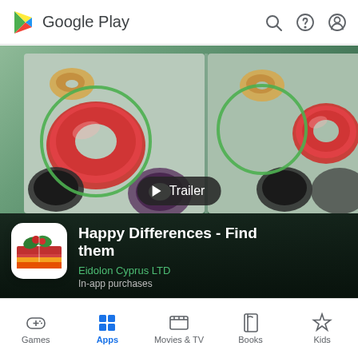Google Play
[Figure (screenshot): Google Play Store app page for 'Happy Differences - Find them' by Eidolon Cyprus LTD. Shows a split-screen donut photo with green circles highlighting differences, a Trailer button overlay, and app icon with title and developer info.]
Happy Differences - Find them
Eidolon Cyprus LTD
In-app purchases
Games  Apps  Movies & TV  Books  Kids